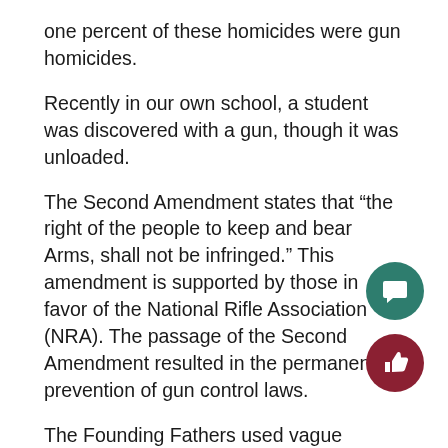one percent of these homicides were gun homicides.
Recently in our own school, a student was discovered with a gun, though it was unloaded.
The Second Amendment states that “the right of the people to keep and bear Arms, shall not be infringed.” This amendment is supported by those in favor of the National Rifle Association (NRA). The passage of the Second Amendment resulted in the permanent prevention of gun control laws.
The Founding Fathers used vague language in the development of the Second Amendment. Therefore, it is subject to interpretation and has resulted in such senseless acts of violence that victimized not only the people killed, but their families as well. Those in favor of guns consider t…